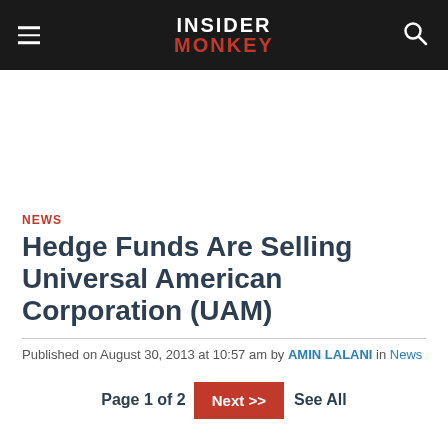INSIDER MONKEY
NEWS
Hedge Funds Are Selling Universal American Corporation (UAM)
Published on August 30, 2013 at 10:57 am by AMIN LALANI in News
Page 1 of 2  Next >>  See All